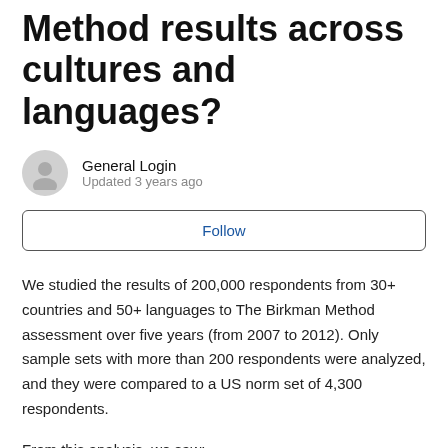Method results across cultures and languages?
General Login
Updated 3 years ago
Follow
We studied the results of 200,000 respondents from 30+ countries and 50+ languages to The Birkman Method assessment over five years (from 2007 to 2012). Only sample sets with more than 200 respondents were analyzed, and they were compared to a US norm set of 4,300 respondents.
From this analysis, we saw:
Very few differences among languages and cultures when compared to US norms